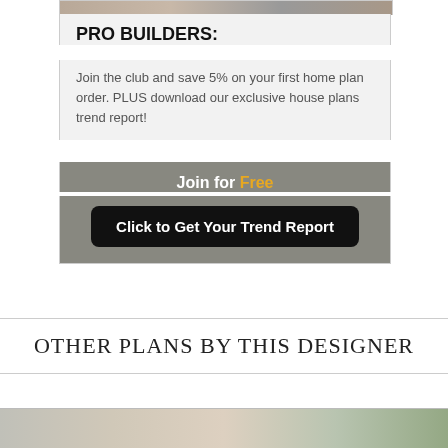[Figure (photo): Partial image strip at top of card showing house or building photos]
PRO BUILDERS:
Join the club and save 5% on your first home plan order. PLUS download our exclusive house plans trend report!
Join for Free
Click to Get Your Trend Report
OTHER PLANS BY THIS DESIGNER
[Figure (photo): Partial image strip at bottom showing outdoor/palm tree scene]